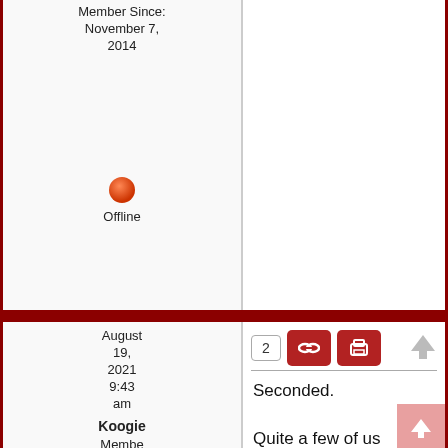Member Since: November 7, 2014
Offline
August 19, 2021 9:43 am
Koogie
Member
Members
Forum Posts: 317
Member Since: November 19, 2014
Seconded.

Quite a few of us (especially those with more than one ladder) use deposit brokers. It would be handy to have all the info. and comparative rates in one place.